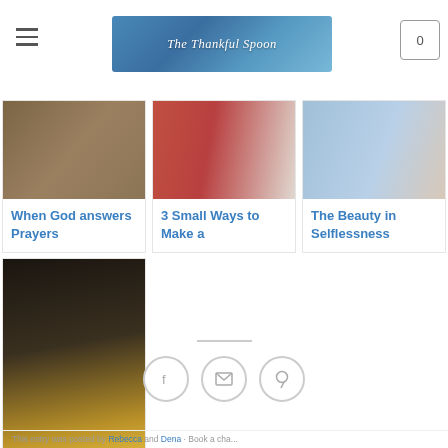The Thankful Spoon
[Figure (photo): Article card image for 'When God answers Prayers' — brown/earth tones]
When God answers Prayers
[Figure (photo): Article card image for '3 Small Ways to Make a' — red jug/container]
3 Small Ways to Make a
[Figure (photo): Article card image for 'The Beauty in Selflessness' — blue sky tones]
The Beauty in Selflessness
[Figure (photo): Article card image for 'Living Joyfully' — person on pink bicycle]
Living Joyfully
[Figure (infographic): Social share icons: Facebook, Email, Pinterest in circular outlines]